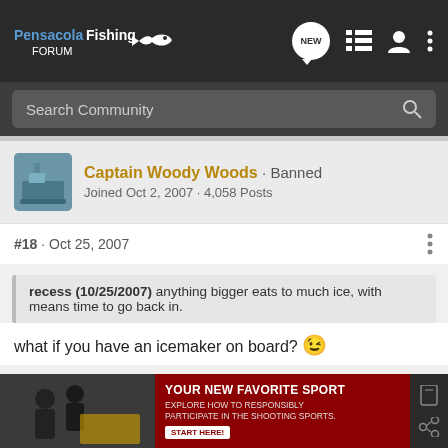PensacolaFishing FORUM
Search Community
Captain Woody Woods · Banned
Joined Oct 2, 2007 · 4,058 Posts
#18 · Oct 25, 2007
recess (10/25/2007) anything bigger eats to much ice, with means time to go back in.
what if you have an icemaker on board? 😉
[Figure (screenshot): Advertisement banner: YOUR NEW FAVORITE SPORT - EXPLORE HOW TO RESPONSIBLY PARTICIPATE IN THE SHOOTING SPORTS. START HERE!]